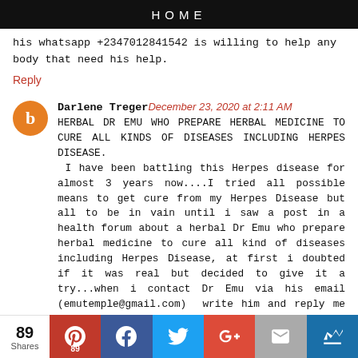HOME
his whatsapp +2347012841542 is willing to help any body that need his help.
Reply
Darlene Treger December 23, 2020 at 2:11 AM
HERBAL DR EMU WHO PREPARE HERBAL MEDICINE TO CURE ALL KINDS OF DISEASES INCLUDING HERPES DISEASE.
 I have been battling this Herpes disease for almost 3 years now....I tried all possible means to get cure from my Herpes Disease but all to be in vain until i saw a post in a health forum about a herbal Dr Emu who prepare herbal medicine to cure all kind of diseases including Herpes Disease, at first i doubted if it was real but decided to give it a try...when i contact Dr Emu via his email (emutemple@gmail.com)  write him and reply me explain how the process work so after ordering for
89 Shares